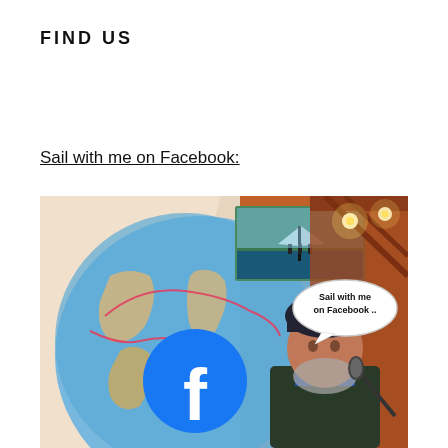FIND US
Sail with me on Facebook:
[Figure (photo): A man speaking into a microphone in front of a large projection showing a world map with the Facebook logo and a route traced across it. A smaller image of a sailing boat is inset. A speech bubble reads 'Sail with me on Facebook ..']